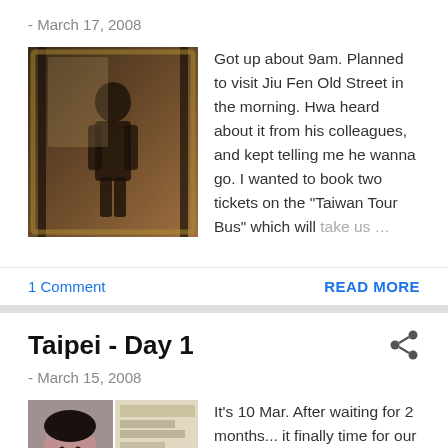- March 17, 2008
[Figure (photo): Person standing in a room, holding something, photographed in low light.]
Got up about 9am. Planned to visit Jiu Fen Old Street in the morning. Hwa heard about it from his colleagues, and kept telling me he wanna go. I wanted to book two tickets on the "Taiwan Tour Bus" which will take us …
1 Comment
READ MORE
Taipei - Day 1
- March 15, 2008
[Figure (photo): Collage of two photos: a person's face close-up and a group photo.]
It's 10 Mar. After waiting for 2 months... it finally time for our holiday to Taipei. :) Flight's @ 1300hr, but both Hwa and I were up pretty early. By 0930hr, we were all